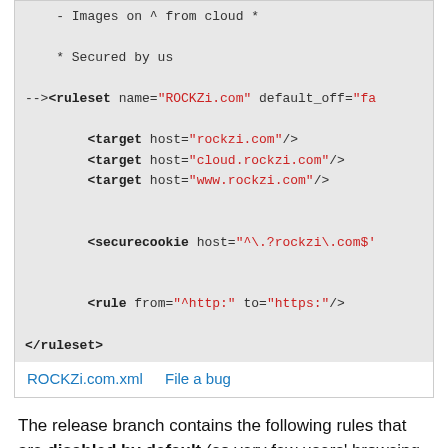[Figure (screenshot): Code block showing XML ruleset for ROCKZi.com with targets, securecookie, and rule elements, plus links to ROCKZi.com.xml and File a bug]
The release branch contains the following rules that are disabled by default (so very few users' browsing is likely to be affected by their action):